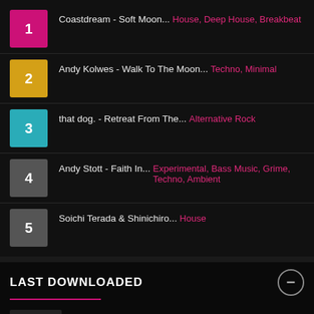1 Coastdream - Soft Moon... House, Deep House, Breakbeat
2 Andy Kolwes - Walk To The Moon... Techno, Minimal
3 that dog. - Retreat From The... Alternative Rock
4 Andy Stott - Faith In... Experimental, Bass Music, Grime, Techno, Ambient
5 Soichi Terada & Shinichiro... House
LAST DOWNLOADED
Jimmy Michaels - The Honeymoon Song Disco
Ural 13 Diktators - Total Destruction